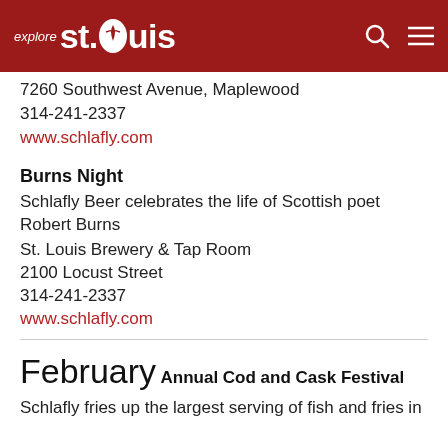explore st.louis
7260 Southwest Avenue, Maplewood
314-241-2337
www.schlafly.com
Burns Night
Schlafly Beer celebrates the life of Scottish poet Robert Burns
St. Louis Brewery & Tap Room
2100 Locust Street
314-241-2337
www.schlafly.com
February
Annual Cod and Cask Festival
Schlafly fries up the largest serving of fish and fries in